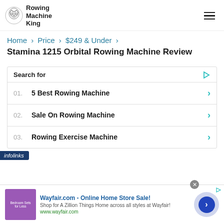Rowing Machine King
Home > Price > $249 & Under >
Stamina 1215 Orbital Rowing Machine Review
Search for
01. 5 Best Rowing Machine
02. Sale On Rowing Machine
03. Rowing Exercise Machine
infolinks
Wayfair.com - Online Home Store Sale! Shop for A Zillion Things Home across all styles at Wayfair! www.wayfair.com